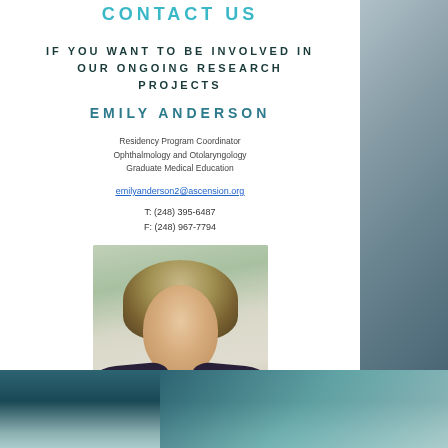CONTACT US
IF YOU WANT TO BE INVOLVED IN OUR ONGOING RESEARCH PROJECTS
EMILY ANDERSON
Residency Program Coordinator
Ophthalmology and Otolaryngology
Graduate Medical Education
emilyanderson2@ascension.org
T: (248) 395-6487
F: (248) 967-7794
[Figure (photo): Headshot photo of Emily Anderson, a woman with shoulder-length blonde hair, smiling, wearing a dark off-shoulder top, photographed outdoors.]